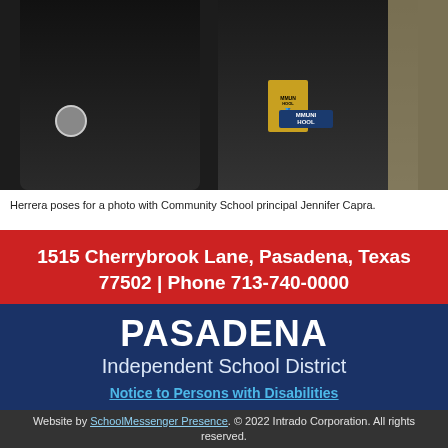[Figure (photo): Two people posing for a photo; both wearing dark clothing. The person on the right wears a dark t-shirt with a lanyard/badge. Background shows a classroom or school setting.]
Herrera poses for a photo with Community School principal Jennifer Capra.
1515 Cherrybrook Lane, Pasadena, Texas 77502 | Phone 713-740-0000
PASADENA Independent School District
Notice to Persons with Disabilities
Website by SchoolMessenger Presence. © 2022 Intrado Corporation. All rights reserved.